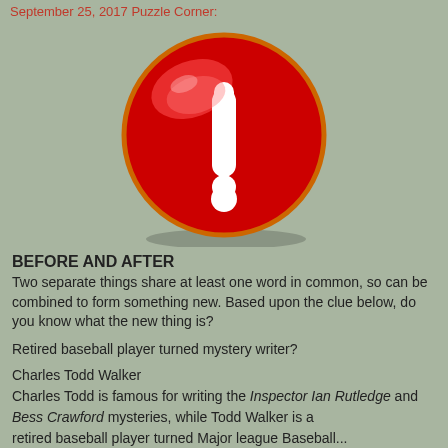September 25, 2017 Puzzle Corner:
[Figure (illustration): Red glossy circle/button with a white exclamation mark, on a sage green background]
BEFORE AND AFTER
Two separate things share at least one word in common, so can be combined to form something new. Based upon the clue below, do you know what the new thing is?
Retired baseball player turned mystery writer?
Charles Todd Walker
Charles Todd is famous for writing the Inspector Ian Rutledge and Bess Crawford mysteries, while Todd Walker is a retired baseball player turned Major league Baseball...